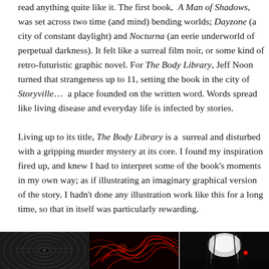read anything quite like it. The first book, A Man of Shadows, was set across two time (and mind) bending worlds; Dayzone (a city of constant daylight) and Nocturna (an eerie underworld of perpetual darkness). It felt like a surreal film noir, or some kind of retro-futuristic graphic novel. For The Body Library, Jeff Noon turned that strangeness up to 11, setting the book in the city of Storyville… a place founded on the written word. Words spread like living disease and everyday life is infected by stories.

Living up to its title, The Body Library is a surreal and disturbed with a gripping murder mystery at its core. I found my inspiration fired up, and knew I had to interpret some of the book's moments in my own way; as if illustrating an imaginary graphical version of the story. I hadn't done any illustration work like this for a long time, so that in itself was particularly rewarding.
[Figure (photo): Three dark artistic photographs side by side: left is a black and white close-up of an eye/face detail, center shows red glowing organic forms on black, right shows a high-contrast black and white image of a figure or object.]